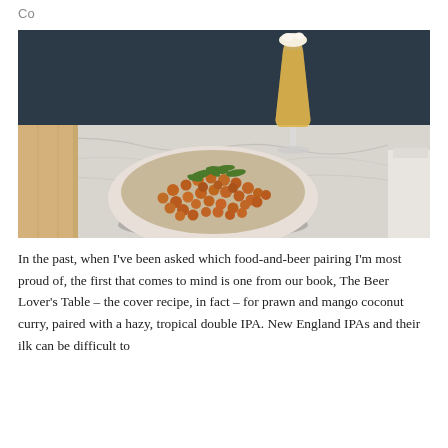Co
[Figure (photo): A bowl of spiced chickpeas garnished with fresh herbs on a marble table, with a tall glass of golden hazy beer in the background against a dark navy wall.]
In the past, when I've been asked which food-and-beer pairing I'm most proud of, the first that comes to mind is one from our book, The Beer Lover's Table – the cover recipe, in fact – for prawn and mango coconut curry, paired with a hazy, tropical double IPA. New England IPAs and their ilk can be difficult to